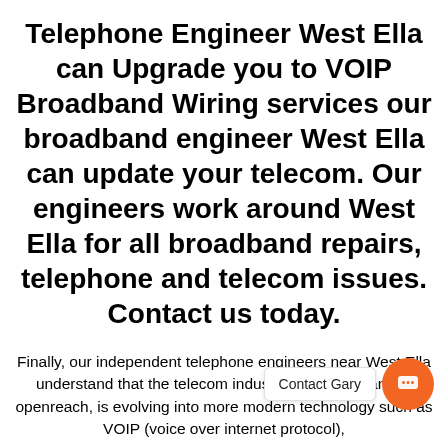Telephone Engineer West Ella can Upgrade you to VOIP Broadband Wiring services our broadband engineer West Ella can update your telecom. Our engineers work around West Ella for all broadband repairs, telephone and telecom issues. Contact us today.
Finally, our independent telephone engineers near West Ella understand that the telecom industry, such as bt and bt openreach, is evolving into more modern technology such as VOIP (voice over internet protocol),